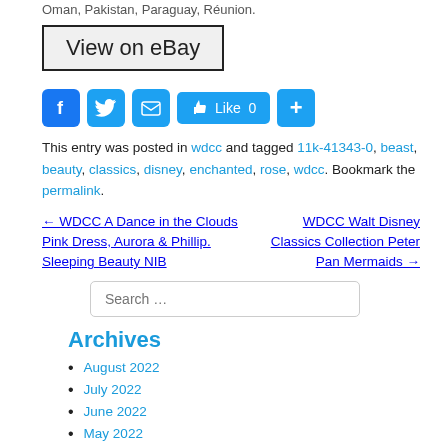Oman, Pakistan, Paraguay, Réunion.
View on eBay
[Figure (infographic): Social share icons: Facebook, Twitter, Email, Like 0 button, Plus button]
This entry was posted in wdcc and tagged 11k-41343-0, beast, beauty, classics, disney, enchanted, rose, wdcc. Bookmark the permalink.
← WDCC A Dance in the Clouds Pink Dress, Aurora & Phillip. Sleeping Beauty NIB
WDCC Walt Disney Classics Collection Peter Pan Mermaids →
Search …
Archives
August 2022
July 2022
June 2022
May 2022